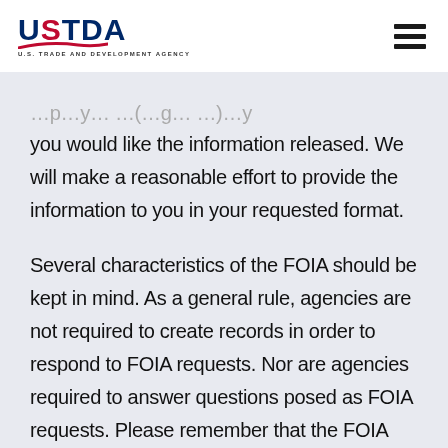USTDA — U.S. TRADE AND DEVELOPMENT AGENCY
…p…y… …(…g… …)…y you would like the information released. We will make a reasonable effort to provide the information to you in your requested format.
Several characteristics of the FOIA should be kept in mind. As a general rule, agencies are not required to create records in order to respond to FOIA requests. Nor are agencies required to answer questions posed as FOIA requests. Please remember that the FOIA